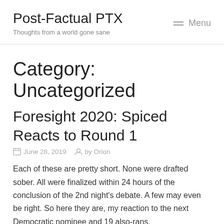Post-Factual PTX
Thoughts from a world gone sane
Category: Uncategorized
Foresight 2020: Spiced Reacts to Round 1
June 28, 2019   by Orion
Each of these are pretty short. None were drafted sober. All were finalized within 24 hours of the conclusion of the 2nd night's debate. A few may even be right. So here they are, my reaction to the next Democratic nominee and 19 also-rans.